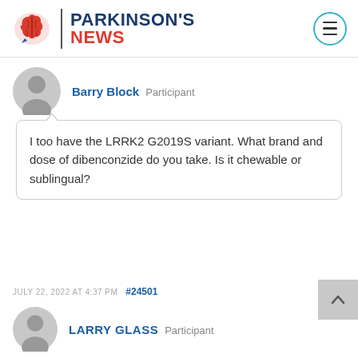PARKINSON'S NEWS
Barry Block  Participant
I too have the LRRK2 G2019S variant. What brand and dose of dibenconzide do you take. Is it chewable or sublingual?
JULY 22, 2022 AT 4:37 PM  #24501
LARRY GLASS  Participant